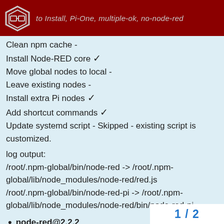to Install, Pi-One, multiple-ok, no-node-red
Clean npm cache -
Install Node-RED core ✓
Move global nodes to local -
Leave existing nodes -
Install extra Pi nodes ✓
Add shortcut commands ✓
Update systemd script - Skipped - existing script is customized.
log output:
/root/.npm-global/bin/node-red -> /root/.npm-global/lib/node_modules/node-red/red.js
/root/.npm-global/bin/node-red-pi -> /root/.npm-global/lib/node_modules/node-red/bin/node-red-pi
node-red@2.2.2
updated 1 package in 48.889s
Now create basic package.json for the user and move any global nodes
Installing extra nodes: node-red-node-
node-red-node-random@latest node-
1 / 2